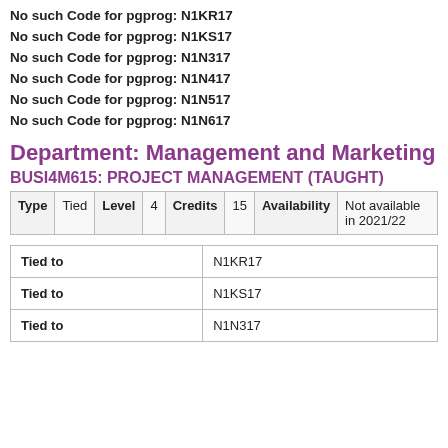No such Code for pgprog: N1KR17
No such Code for pgprog: N1KS17
No such Code for pgprog: N1N317
No such Code for pgprog: N1N417
No such Code for pgprog: N1N517
No such Code for pgprog: N1N617
Department: Management and Marketing
BUSI4M615: PROJECT MANAGEMENT (TAUGHT)
| Type | Tied | Level | 4 | Credits | 15 | Availability | Not available in 2021/22 |
| --- | --- | --- | --- | --- | --- | --- | --- |
| Tied to |  |
| --- | --- |
| Tied to | N1KR17 |
| Tied to | N1KS17 |
| Tied to | N1N317 |